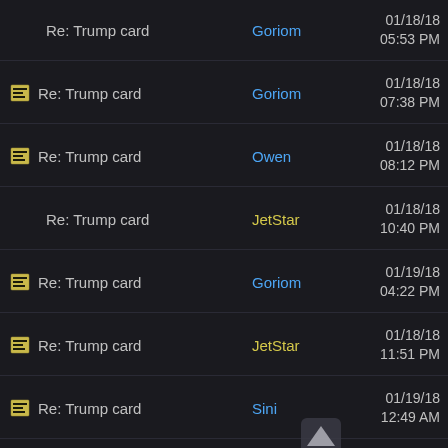Re: Trump card | Goriom | 01/18/18 05:53 PM
Re: Trump card | Goriom | 01/18/18 07:38 PM
Re: Trump card | Owen | 01/18/18 08:12 PM
Re: Trump card | JetStar | 01/18/18 10:40 PM
Re: Trump card | Goriom | 01/19/18 04:22 PM
Re: Trump card | JetStar | 01/18/18 11:51 PM
Re: Trump card | Sini | 01/19/18 12:49 AM
Re: Trump card | Owen | 01/19/18 12:06 AM